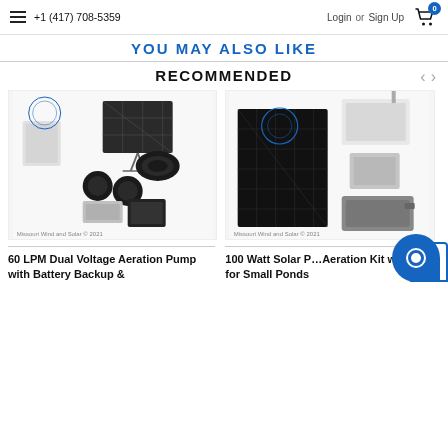+1 (417) 708-5359  Login or  Sign Up
YOU MAY ALSO LIKE
RECOMMENDED
[Figure (photo): Product image: 60 LPM Dual Voltage Aeration Pump with Battery Backup kit, showing solar panel, black hose coils, air diffusers, compressor, and control box. Watermark: Missouri Wind and Solar © 2021]
[Figure (photo): Product image: 100 Watt Solar Powered Aeration Kit with Battery for Small Ponds, showing large solar panel, control box, battery enclosure, and aerator unit. Watermark: Missouri Wind and Solar © 2021]
60 LPM Dual Voltage Aeration Pump with Battery Backup &
100 Watt Solar Powered Aeration Kit with Battery for Small Ponds